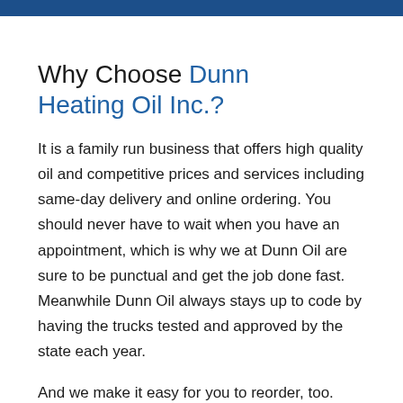Why Choose Dunn Heating Oil Inc.?
It is a family run business that offers high quality oil and competitive prices and services including same-day delivery and online ordering. You should never have to wait when you have an appointment, which is why we at Dunn Oil are sure to be punctual and get the job done fast. Meanwhile Dunn Oil always stays up to code by having the trucks tested and approved by the state each year.
And we make it easy for you to reorder, too.